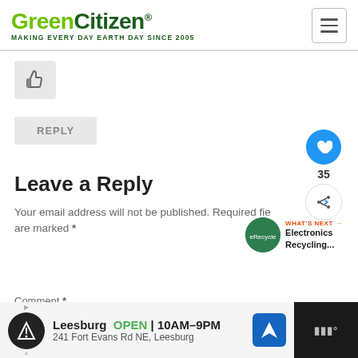GreenCitizen® MAKING EVERY DAY EARTH DAY SINCE 2005
[Figure (illustration): Thumbs up / like button icon in a light gray rounded rectangle]
REPLY
Leave a Reply
Your email address will not be published. Required fields are marked *
Comment *
[Figure (screenshot): Floating social buttons: blue heart button, 35 count, share button]
[Figure (screenshot): What's Next panel: Electronics Recycling... with circular green image]
[Figure (screenshot): Ad bar: Leesburg OPEN 10AM-9PM, 241 Fort Evans Rd NE, Leesburg]